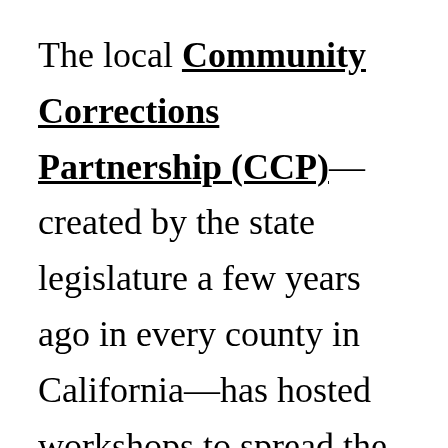The local Community Corrections Partnership (CCP)—created by the state legislature a few years ago in every county in California—has hosted workshops to spread the word about Clean Slate. Sarah Emmert, Director of Community Organizing for the United Way of Santa Cruz County, coordinates the CCP and its Community Education